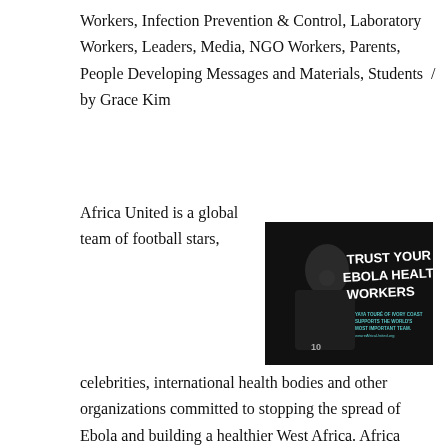Workers, Infection Prevention & Control, Laboratory Workers, Leaders, Media, NGO Workers, Parents, People Developing Messages and Materials, Students  /  by Grace Kim
Africa United is a global team of football stars,
[Figure (photo): Black and white promotional photo of Yaya Touré of Ivory Coast in football jersey with text overlay 'TRUST YOUR EBOLA HEALTH WORKERS'. Smaller text reads 'YAYA TOURÉ OF IVORY COAST SUPPORTS THE WORLD'S MOST IMPORTANT TEAM. weareAfricaUnited.org']
celebrities, international health bodies and other organizations committed to stopping the spread of Ebola and building a healthier West Africa. Africa United provides with education programs and